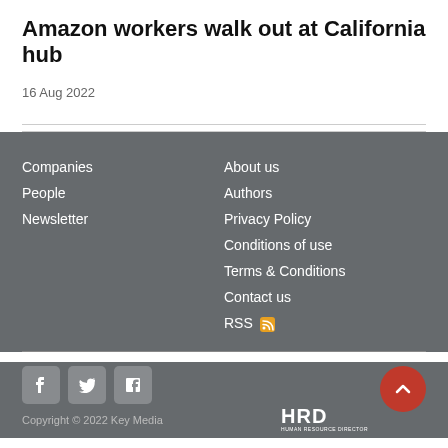Amazon workers walk out at California hub
16 Aug 2022
Companies
People
Newsletter
About us
Authors
Privacy Policy
Conditions of use
Terms & Conditions
Contact us
RSS
Copyright © 2022 Key Media